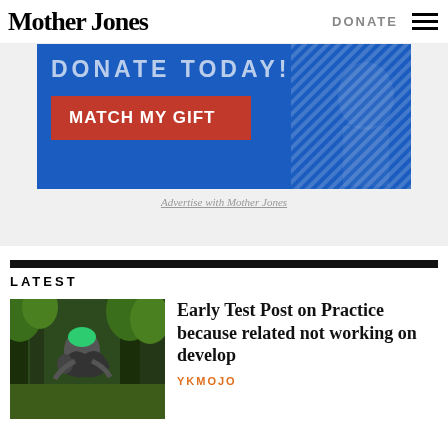Mother Jones
DONATE
[Figure (infographic): Blue donation banner with 'DONATE TODAY' text and a red 'MATCH MY GIFT' button, with a diagonal pattern graphic on the right side]
Advertise with Mother Jones
LATEST
[Figure (photo): Person with green hair interacting with a dark sculpture or animal in a forest setting]
Early Test Post on Practice because related not working on develop
YKMOJO